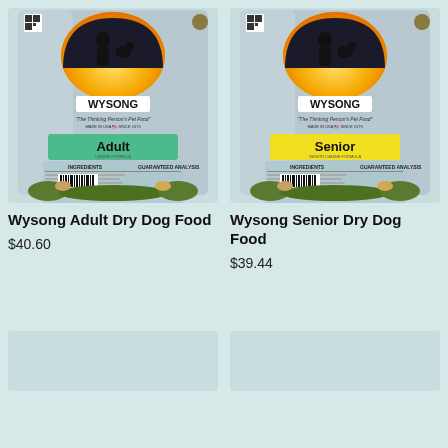[Figure (photo): Wysong Adult Dry Dog Food bag — silver packaging with Wysong logo (orange/yellow arch with silhouette of person and pets), green label reading 'Adult', ingredients and guaranteed analysis panel on back of bag, barcode at bottom, animals (dogs, cats) at bottom of bag]
Wysong Adult Dry Dog Food
$40.60
[Figure (photo): Wysong Senior Dry Dog Food bag — silver packaging with Wysong logo (orange/yellow arch with silhouette of person and pets), yellow label reading 'Senior', ingredients and guaranteed analysis panel on back of bag, barcode at bottom, animals (dogs, cats) at bottom of bag]
Wysong Senior Dry Dog Food
$39.44